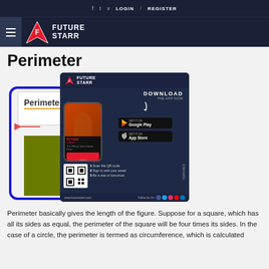f  t  v  LOGIN / REGISTER
FUTURE STARR
Perimeter
[Figure (illustration): Diagram of a rectangle with labeled dimensions showing perimeter concept, overlaid with a FutureStarr app download popup advertisement]
Perimeter basically gives the length of the figure. Suppose for a square, which has all its sides as equal, the perimeter of the square will be four times its sides. In the case of a circle, the perimeter is termed as circumference, which is calculated